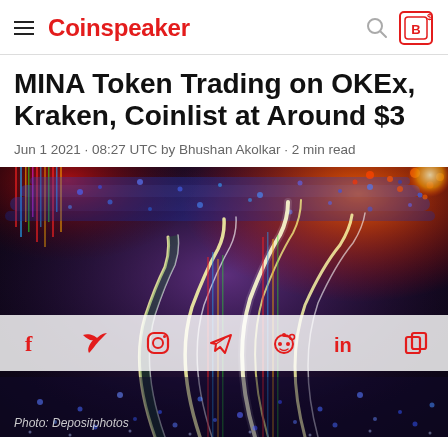Coinspeaker
MINA Token Trading on OKEx, Kraken, Coinlist at Around $3
Jun 1 2021 · 08:27 UTC by Bhushan Akolkar · 2 min read
[Figure (photo): Abstract digital art showing glowing light structures (resembling hands or waves) surrounded by colorful pixel-like particles in red, blue, and purple tones. Photo credit: Depositphotos.]
Photo: Depositphotos